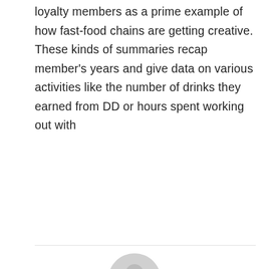loyalty members as a prime example of how fast-food chains are getting creative. These kinds of summaries recap member's years and give data on various activities like the number of drinks they earned from DD or hours spent working out with
[Figure (illustration): Gray circular avatar icon with a person silhouette]
admin
Leave a Reply
You must be logged in to post a comment.
[Figure (other): Social share buttons: Facebook (blue), Twitter (light blue), LinkedIn (dark blue), Pinterest (red)]
[Figure (other): Blue circular chat button with three dots]